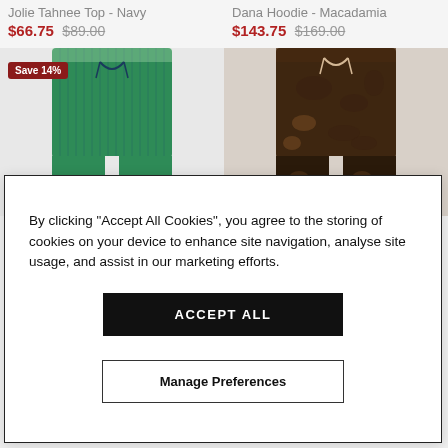Jolie Tahnee Top - Navy
$66.75 $89.00
Dana Hoodie - Macadamia
$143.75 $169.00
[Figure (photo): Green ribbed pants with navy drawstring tie, cropped view of lower torso and thighs. Save 14% badge overlay.]
[Figure (photo): Dark brown/black patterned pants with light drawstring tie, cropped view of lower torso and thighs.]
By clicking “Accept All Cookies”, you agree to the storing of cookies on your device to enhance site navigation, analyse site usage, and assist in our marketing efforts.
ACCEPT ALL
Manage Preferences